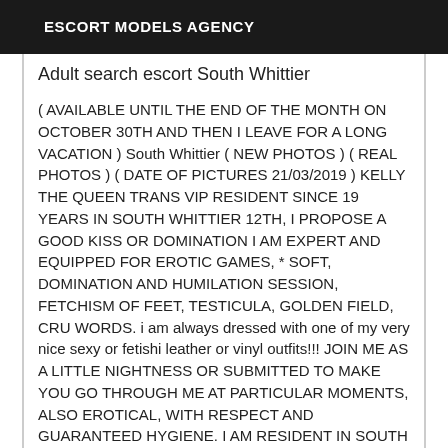ESCORT MODELS AGENCY
Adult search escort South Whittier
( AVAILABLE UNTIL THE END OF THE MONTH ON OCTOBER 30TH AND THEN I LEAVE FOR A LONG VACATION ) South Whittier ( NEW PHOTOS ) ( REAL PHOTOS ) ( DATE OF PICTURES 21/03/2019 ) KELLY THE QUEEN TRANS VIP RESIDENT SINCE 19 YEARS IN SOUTH WHITTIER 12TH, I PROPOSE A GOOD KISS OR DOMINATION I AM EXPERT AND EQUIPPED FOR EROTIC GAMES, * SOFT, DOMINATION AND HUMILATION SESSION, FETCHISM OF FEET, TESTICULA, GOLDEN FIELD, CRU WORDS. i am always dressed with one of my very nice sexy or fetishi leather or vinyl outfits!!! JOIN ME AS A LITTLE NIGHTNESS OR SUBMITTED TO MAKE YOU GO THROUGH ME AT PARTICULAR MOMENTS, ALSO EROTICAL, WITH RESPECT AND GUARANTEED HYGIENE. I AM RESIDENT IN SOUTH WHITTIER